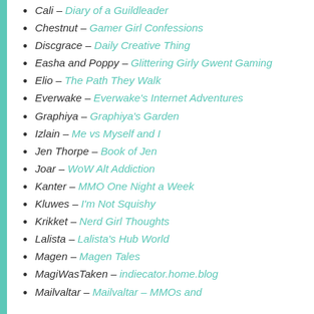Cali – Diary of a Guildleader
Chestnut – Gamer Girl Confessions
Discgrace – Daily Creative Thing
Easha and Poppy – Glittering Girly Gwent Gaming
Elio – The Path They Walk
Everwake – Everwake's Internet Adventures
Graphiya – Graphiya's Garden
Izlain – Me vs Myself and I
Jen Thorpe – Book of Jen
Joar – WoW Alt Addiction
Kanter – MMO One Night a Week
Kluwes – I'm Not Squishy
Krikket – Nerd Girl Thoughts
Lalista – Lalista's Hub World
Magen – Magen Tales
MagiWasTaken – indiecator.home.blog
Mailvaltar – Mailvaltar – MMOs and other stuff